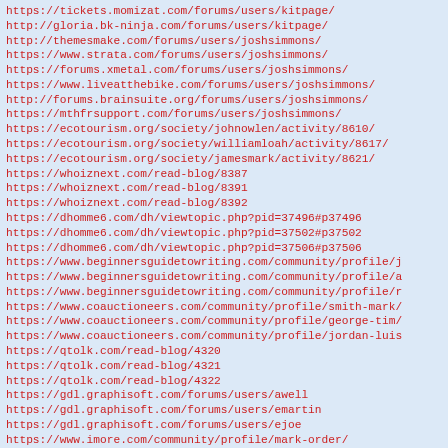https://tickets.momizat.com/forums/users/kitpage/
http://gloria.bk-ninja.com/forums/users/kitpage/
http://themesmake.com/forums/users/joshsimmons/
https://www.strata.com/forums/users/joshsimmons/
https://forums.xmetal.com/forums/users/joshsimmons/
https://www.liveatthebike.com/forums/users/joshsimmons/
http://forums.brainsuite.org/forums/users/joshsimmons/
https://mthfrsupport.com/forums/users/joshsimmons/
https://ecotourism.org/society/johnowlen/activity/8610/
https://ecotourism.org/society/williamloah/activity/8617/
https://ecotourism.org/society/jamesmark/activity/8621/
https://whoiznext.com/read-blog/8387
https://whoiznext.com/read-blog/8391
https://whoiznext.com/read-blog/8392
https://dhomme6.com/dh/viewtopic.php?pid=37496#p37496
https://dhomme6.com/dh/viewtopic.php?pid=37502#p37502
https://dhomme6.com/dh/viewtopic.php?pid=37506#p37506
https://www.beginnersguidetowriting.com/community/profile/j
https://www.beginnersguidetowriting.com/community/profile/a
https://www.beginnersguidetowriting.com/community/profile/r
https://www.coauctioneers.com/community/profile/smith-mark/
https://www.coauctioneers.com/community/profile/george-tim/
https://www.coauctioneers.com/community/profile/jordan-luis
https://qtolk.com/read-blog/4320
https://qtolk.com/read-blog/4321
https://qtolk.com/read-blog/4322
https://gdl.graphisoft.com/forums/users/awell
https://gdl.graphisoft.com/forums/users/emartin
https://gdl.graphisoft.com/forums/users/ejoe
https://www.imore.com/community/profile/mark-order/